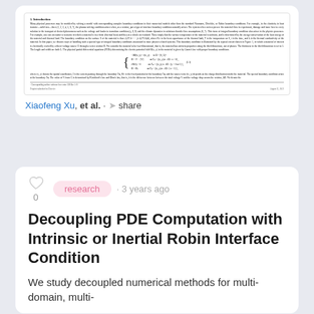[Figure (screenshot): Thumbnail preview of a scientific paper page showing section 1 Introduction with dense text, a system of equations (PDE boundary conditions), and footer information]
Xiaofeng Xu, et al. · share
research · 3 years ago
Decoupling PDE Computation with Intrinsic or Inertial Robin Interface Condition
We study decoupled numerical methods for multi-domain, multi-